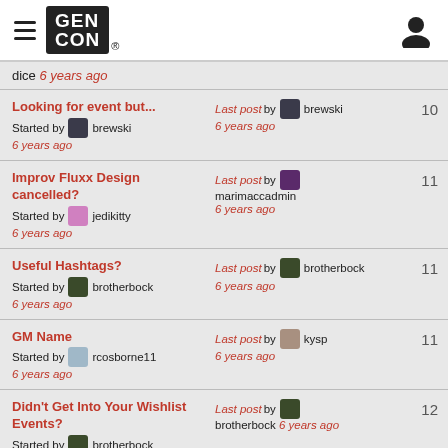Gen Con navigation header
dice 6 years ago
Looking for event but... Started by brewski 6 years ago | Last post by brewski 6 years ago | 10
Improv Fluxx Design cancelled? Started by jedikitty 6 years ago | Last post by marimaccadmin 6 years ago | 11
Useful Hashtags? Started by brotherbock 6 years ago | Last post by brotherbock 6 years ago | 11
GM Name Started by rcosborne11 6 years ago | Last post by kysp 6 years ago | 11
Didn't Get Into Your Wishlist Events? Started by brotherbock 6 years ago | Last post by brotherbock 6 years ago | 12
Artemis?! ... Last post by sirjohn ... 12